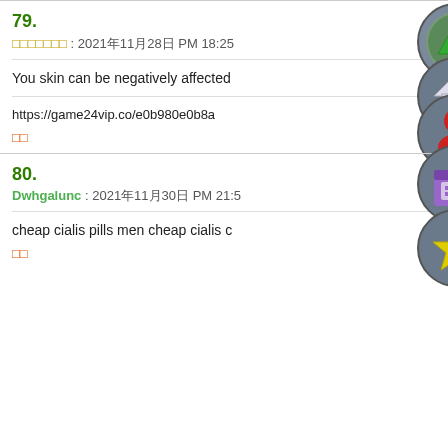79.
□□□□□□□ : 2021年11月28日 PM 18:25
[Figure (illustration): Green circle avatar with up-arrow icon]
You skin can be negatively affected
[Figure (illustration): Grey circle avatar with house/home icon]
https://game24vip.co/e0b980e0b8a
[Figure (illustration): Grey circle avatar with red person/user icon]
□□
80.
Dwhgalunc : 2021年11月30日 PM 21:5
[Figure (illustration): Grey circle avatar with purple store/shop icon]
cheap cialis pills men cheap cialis c
[Figure (illustration): Grey circle avatar with yellow star icon]
□□